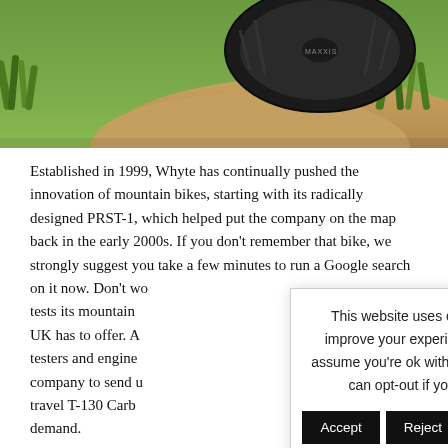[Figure (photo): Mountain bike wheel on a dirt trail with grass in the background, viewed from above/side angle]
Established in 1999, Whyte has continually pushed the innovation of mountain bikes, starting with its radically designed PRST-1, which helped put the company on the map back in the early 2000s. If you don't remember that bike, we strongly suggest you take a few minutes to run a Google search on it now. Don't wo[rry, we'll wait]. tests its mountain [bikes on some of the toughest trails the] UK has to offer. A [team of dedicated] testers and engine[ers work with the] company to send u[s the] travel T-130 Carb[on which is in high] demand.
This website uses cookies to improve your experience. We'll assume you're ok with this, but you can opt-out if you wish.